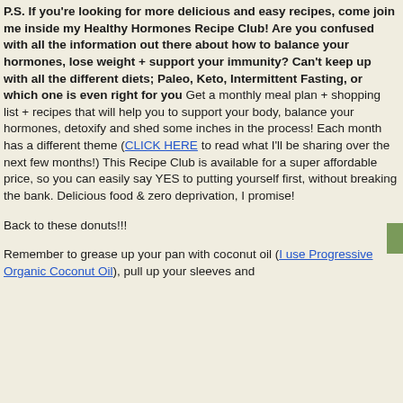P.S. If you're looking for more delicious and easy recipes, come join me inside my Healthy Hormones Recipe Club! Are you confused with all the information out there about how to balance your hormones, lose weight + support your immunity? Can't keep up with all the different diets; Paleo, Keto, Intermittent Fasting, or which one is even right for you Get a monthly meal plan + shopping list + recipes that will help you to support your body, balance your hormones, detoxify and shed some inches in the process! Each month has a different theme (CLICK HERE to read what I'll be sharing over the next few months!) This Recipe Club is available for a super affordable price, so you can easily say YES to putting yourself first, without breaking the bank. Delicious food & zero deprivation, I promise!
Back to these donuts!!!
Remember to grease up your pan with coconut oil (I use Progressive Organic Coconut Oil), pull up your sleeves and